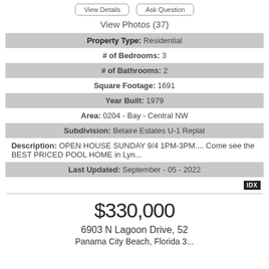View Details   Ask Question
View Photos (37)
| Property Type: | Residential |
| # of Bedrooms: | 3 |
| # of Bathrooms: | 2 |
| Square Footage: | 1691 |
| Year Built: | 1979 |
| Area: | 0204 - Bay - Central NW |
| Subdivision: | Belaire Estates U-1 Replat |
| Description: | OPEN HOUSE SUNDAY 9/4 1PM-3PM.... Come see the BEST PRICED POOL HOME in Lyn... |
| Last Updated: | September - 05 - 2022 |
IDX
$330,000
6903 N Lagoon Drive, 52
Panama City Beach, Florida 3...